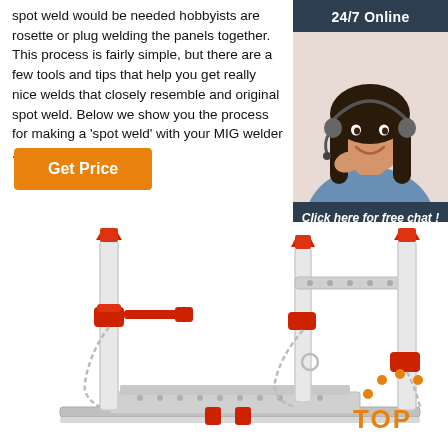spot weld would be needed hobbyists are rosette or plug welding the panels together. This process is fairly simple, but there are a few tools and tips that help you get really nice welds that closely resemble and original spot weld. Below we show you the process for making a 'spot weld' with your MIG welder ...
[Figure (infographic): 24/7 Online chat sidebar with a customer service representative photo, 'Click here for free chat!' text, and orange QUOTATION button]
[Figure (photo): Industrial welding fixture/stand equipment with red and white metal clamps, chains, and support posts]
[Figure (infographic): TOP badge with orange dots arranged in arc and orange TOP text]